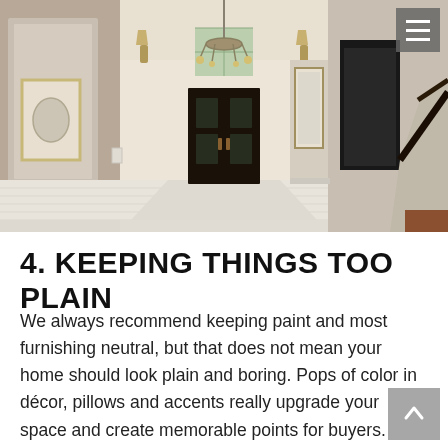[Figure (photo): Interior photo of a home entryway/foyer with white hardwood floors, high ceilings, a chandelier, dark double front doors with glass panels, framed artwork on the walls, and a staircase on the right with a dark wood railing.]
4. KEEPING THINGS TOO PLAIN
We always recommend keeping paint and most furnishing neutral, but that does not mean your home should look plain and boring. Pops of color in décor, pillows and accents really upgrade your space and create memorable points for buyers. Adding plants, art and mirrors brings life and